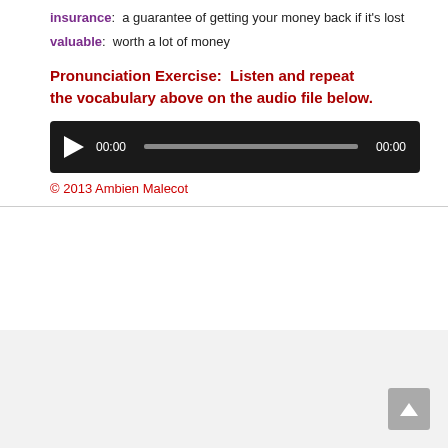insurance:  a guarantee of getting your money back if it's lost
valuable:  worth a lot of money
Pronunciation Exercise:  Listen and repeat the vocabulary above on the audio file below.
[Figure (other): Audio player widget with play button, progress bar showing 00:00 time start and 00:00 time end on dark background]
© 2013 Ambien Malecot